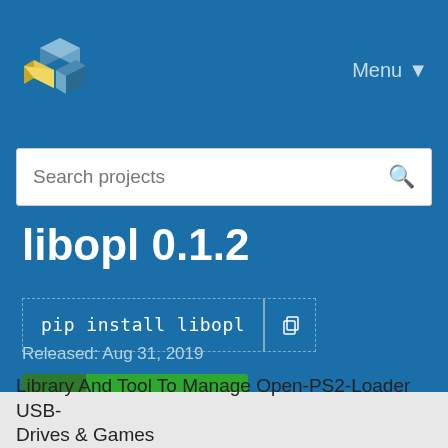[Figure (logo): PyPI logo - colorful stacked cube/box icon]
Menu ▼
Search projects
libopl 0.1.2
pip install libopl
Latest version
Released: Aug 31, 2019
Library And Tool To Manage Open-PS2-Loader USB-Drives & Games